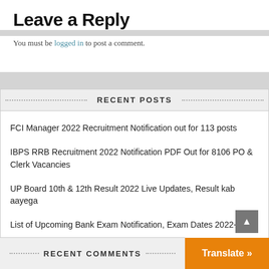Leave a Reply
You must be logged in to post a comment.
RECENT POSTS
FCI Manager 2022 Recruitment Notification out for 113 posts
IBPS RRB Recruitment 2022 Notification PDF Out for 8106 PO & Clerk Vacancies
UP Board 10th & 12th Result 2022 Live Updates, Result kab aayega
List of Upcoming Bank Exam Notification, Exam Dates 2022-23.
IDBI Bank Vacancy 2022-23 Apply Online
RECENT COMMENTS